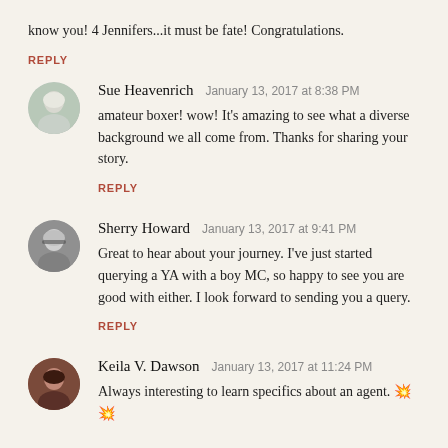know you! 4 Jennifers...it must be fate! Congratulations.
REPLY
Sue Heavenrich  January 13, 2017 at 8:38 PM
amateur boxer! wow! It's amazing to see what a diverse background we all come from. Thanks for sharing your story.
REPLY
Sherry Howard  January 13, 2017 at 9:41 PM
Great to hear about your journey. I've just started querying a YA with a boy MC, so happy to see you are good with either. I look forward to sending you a query.
REPLY
Keila V. Dawson  January 13, 2017 at 11:24 PM
Always interesting to learn specifics about an agent. ??